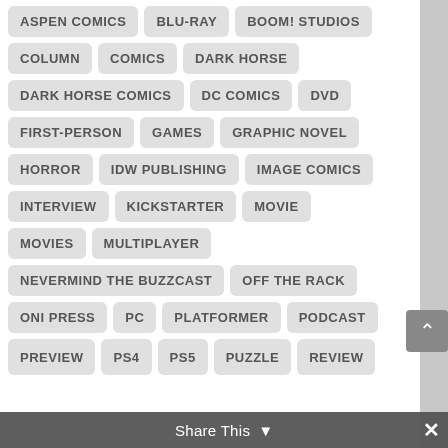ASPEN COMICS
BLU-RAY
BOOM! STUDIOS
COLUMN
COMICS
DARK HORSE
DARK HORSE COMICS
DC COMICS
DVD
FIRST-PERSON
GAMES
GRAPHIC NOVEL
HORROR
IDW PUBLISHING
IMAGE COMICS
INTERVIEW
KICKSTARTER
MOVIE
MOVIES
MULTIPLAYER
NEVERMIND THE BUZZCAST
OFF THE RACK
ONI PRESS
PC
PLATFORMER
PODCAST
PREVIEW
PS4
PS5
PUZZLE
REVIEW
Share This